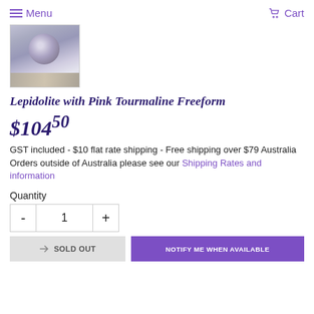Menu  Cart
[Figure (photo): Small thumbnail photo of a Lepidolite with Pink Tourmaline freeform crystal/stone resting on a wooden plank surface.]
Lepidolite with Pink Tourmaline Freeform
$104.50
GST included - $10 flat rate shipping - Free shipping over $79 Australia
Orders outside of Australia please see our Shipping Rates and information
Quantity
- 1 +
SOLD OUT   NOTIFY ME WHEN AVAILABLE